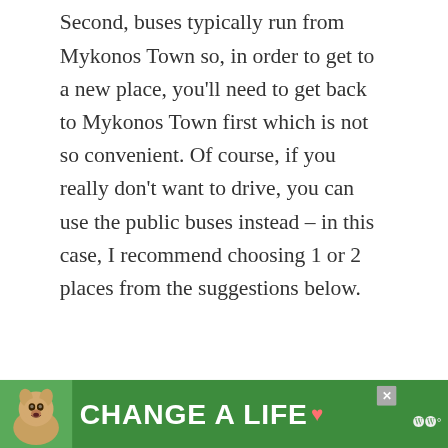Second, buses typically run from Mykonos Town so, in order to get to a new place, you'll need to get back to Mykonos Town first which is not so convenient. Of course, if you really don't want to drive, you can use the public buses instead – in this case, I recommend choosing 1 or 2 places from the suggestions below.
Spend some time on the beach
Up until now you only had time to visit one b[each near Mykonos Town]
[Figure (other): Advertisement banner with green background featuring a dog image on the left, text reading 'CHANGE A LIFE' with a heart symbol, and a close/X button. WW logo visible on the right.]